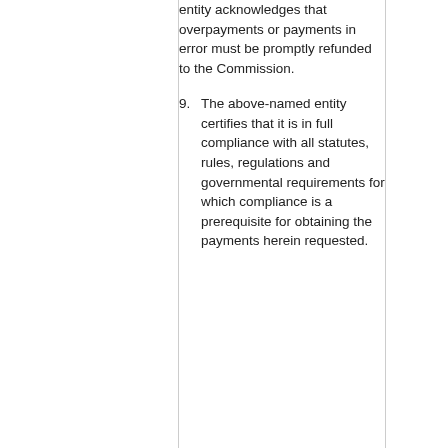entity acknowledges that overpayments or payments in error must be promptly refunded to the Commission.
9. The above-named entity certifies that it is in full compliance with all statutes, rules, regulations and governmental requirements for which compliance is a prerequisite for obtaining the payments herein requested.
I declare, under penalty of perjury, that I am an authorized representative of the above-named applicant for the Authorization(s)
Robert Folliard , Assistant Secretary